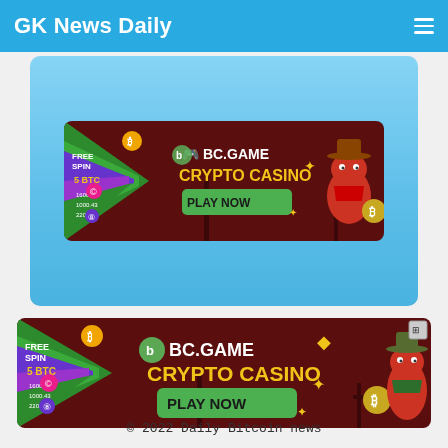GK News Daily
[Figure (illustration): BC.GAME Crypto Casino advertisement banner with spin wheel, FREE SPIN / 5 BTC text, CRYPTO CASINO, PLAY NOW button, and cartoon dinosaur cowboy character - shown inside a light blue card container]
[Figure (illustration): BC.GAME Crypto Casino advertisement banner with spin wheel, FREE SPIN / 5 BTC text, CRYPTO CASINO, PLAY NOW button, and cartoon dinosaur cowboy character - standalone below the card]
© 2022 Daily Bitcoin news